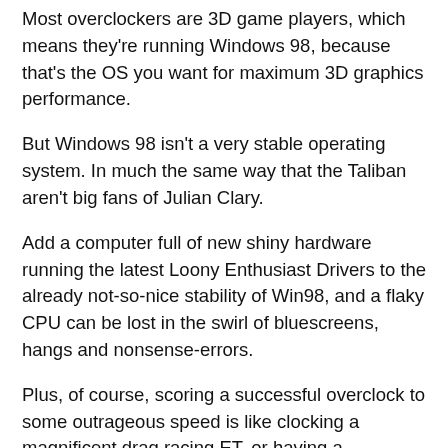Most overclockers are 3D game players, which means they're running Windows 98, because that's the OS you want for maximum 3D graphics performance.
But Windows 98 isn't a very stable operating system. In much the same way that the Taliban aren't big fans of Julian Clary.
Add a computer full of new shiny hardware running the latest Loony Enthusiast Drivers to the already not-so-nice stability of Win98, and a flaky CPU can be lost in the swirl of bluescreens, hangs and nonsense-errors.
Plus, of course, scoring a successful overclock to some outrageous speed is like clocking a magnificent drag racing ET, or having a spectacular golf handicap. There's a big incentive to demonstrate your technical prowess by calling a machine that falls in a screaming heap every 20 minutes "rock solid stable". Thus will all the world know that truly you have, as the youngsters